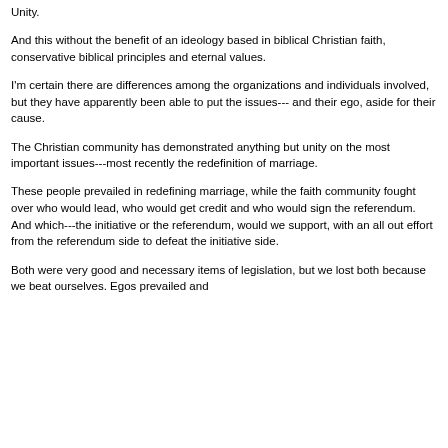Unity.
And this without the benefit of an ideology based in biblical Christian faith, conservative biblical principles and eternal values.
I'm certain there are differences among the organizations and individuals involved, but they have apparently been able to put the issues--- and their ego, aside for their cause.
The Christian community has demonstrated anything but unity on the most important issues---most recently the redefinition of marriage.
These people prevailed in redefining marriage, while the faith community fought over who would lead, who would get credit and who would sign the referendum. And which---the initiative or the referendum, would we support, with an all out effort from the referendum side to defeat the initiative side.
Both were very good and necessary items of legislation, but we lost both because we beat ourselves. Egos prevailed and